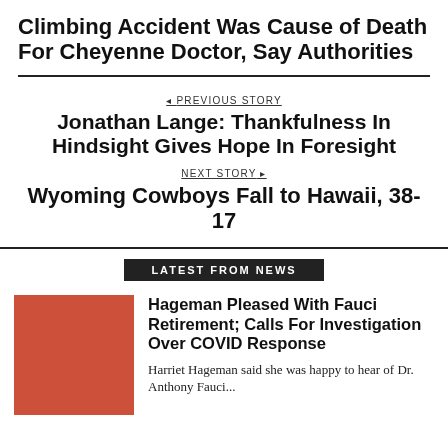Climbing Accident Was Cause of Death For Cheyenne Doctor, Say Authorities
PREVIOUS STORY
Jonathan Lange: Thankfulness In Hindsight Gives Hope In Foresight
NEXT STORY
Wyoming Cowboys Fall to Hawaii, 38-17
LATEST FROM NEWS
[Figure (photo): Red/orange square thumbnail image]
Hageman Pleased With Fauci Retirement; Calls For Investigation Over COVID Response
Harriet Hageman said she was happy to hear of Dr. Anthony Fauci...